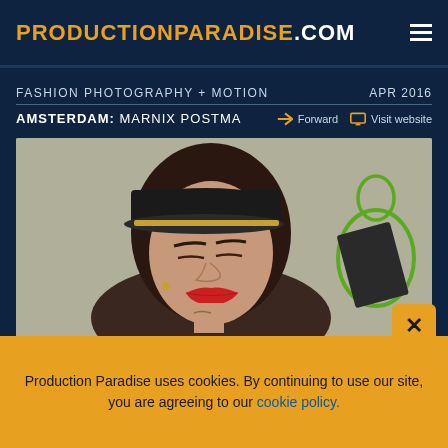PRODUCTIONPARADISE.COM
FASHION PHOTOGRAPHY + MOTION   APR 2016
AMSTERDAM: MARNIX POSTMA
Forward   Visit website
[Figure (photo): Fashion photo of a woman wearing a black cap and dark jacket, with red lips, eyes closed, posed in front of a graffiti wall]
Production Paradise uses cookies. By continuing to use our site, you are agreeing to our cookie policy.